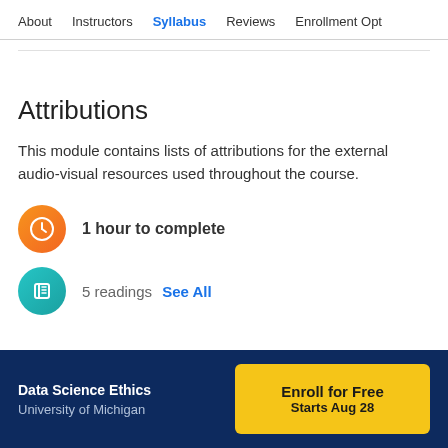About | Instructors | Syllabus | Reviews | Enrollment Opt
Attributions
This module contains lists of attributions for the external audio-visual resources used throughout the course.
1 hour to complete
5 readings  See All
Data Science Ethics
University of Michigan
Enroll for Free
Starts Aug 28